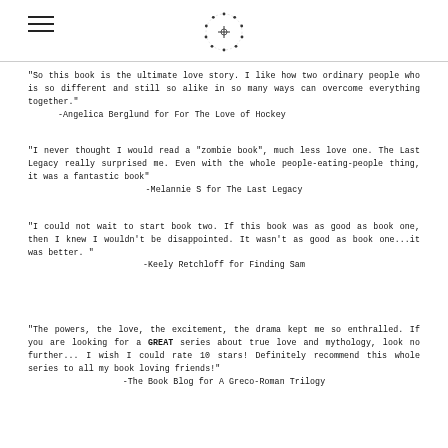Navigation header with hamburger menu and circular logo icon
"So this book is the ultimate love story. I like how two ordinary people who is so different and still so alike in so many ways can overcome everything together."
    -Angelica Berglund for For The Love of Hockey
"I never thought I would read a "zombie book", much less love one. The Last Legacy really surprised me. Even with the whole people-eating-people thing, it was a fantastic book"
                -Melannie S for The Last Legacy
"I could not wait to start book two. If this book was as good as book one, then I knew I wouldn't be disappointed. It wasn't as good as book one...it was better. "
                        -Keely Retchloff for Finding Sam
"The powers, the love, the excitement, the drama kept me so enthralled. If you are looking for a GREAT series about true love and mythology, look no further... I wish I could rate 10 stars! Definitely recommend this whole series to all my book loving friends!"
        -The Book Blog for A Greco-Roman Trilogy